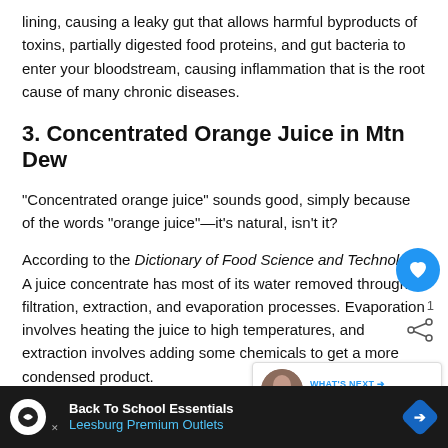lining, causing a leaky gut that allows harmful byproducts of toxins, partially digested food proteins, and gut bacteria to enter your bloodstream, causing inflammation that is the root cause of many chronic diseases.
3. Concentrated Orange Juice in Mtn Dew
"Concentrated orange juice" sounds good, simply because of the words "orange juice"—it's natural, isn't it?
According to the Dictionary of Food Science and Technology, A juice concentrate has most of its water removed through filtration, extraction, and evaporation processes. Evaporation involves heating the juice to high temperatures, and extraction involves adding some chemicals to get a more condensed product.
This process significantly lessens the nutritional value of the fruit. The juice is then also pasteurized as part of the process...